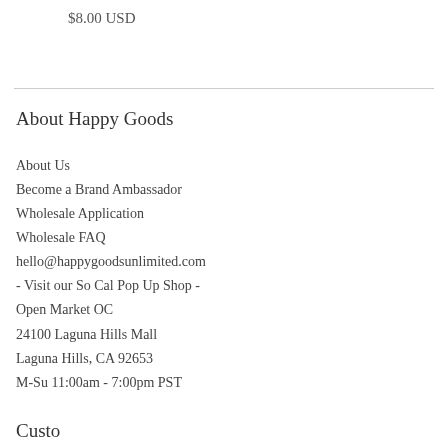$8.00 USD
About Happy Goods
About Us
Become a Brand Ambassador
Wholesale Application
Wholesale FAQ
hello@happygoodsunlimited.com
- Visit our So Cal Pop Up Shop - Open Market OC
24100 Laguna Hills Mall
Laguna Hills, CA 92653
M-Su 11:00am - 7:00pm PST
Customer Service